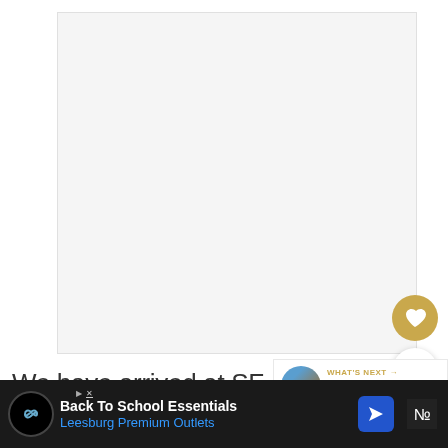[Figure (photo): Large white/blank image area (content not visible)]
We have arrived at SF and San Jo international airport in the past from
[Figure (screenshot): Advertisement bar: Back To School Essentials, Leesburg Premium Outlets]